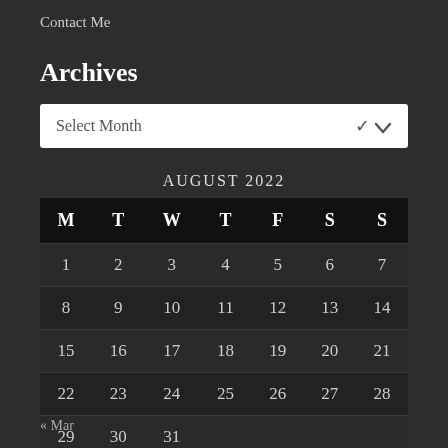Contact Me
Archives
Select Month
| M | T | W | T | F | S | S |
| --- | --- | --- | --- | --- | --- | --- |
| 1 | 2 | 3 | 4 | 5 | 6 | 7 |
| 8 | 9 | 10 | 11 | 12 | 13 | 14 |
| 15 | 16 | 17 | 18 | 19 | 20 | 21 |
| 22 | 23 | 24 | 25 | 26 | 27 | 28 |
| 29 | 30 | 31 |  |  |  |  |
« Mar